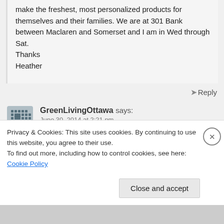make the freshest, most personalized products for themselves and their families. We are at 301 Bank between Maclaren and Somerset and I am in Wed through Sat.
Thanks
Heather
Reply
GreenLivingOttawa says:
June 30, 2014 at 2:21 pm
Privacy & Cookies: This site uses cookies. By continuing to use this website, you agree to their use.
To find out more, including how to control cookies, see here: Cookie Policy
Close and accept